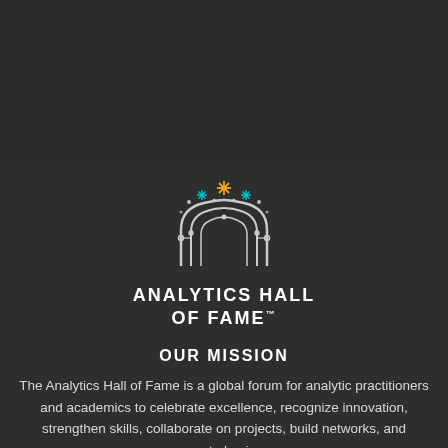[Figure (logo): Analytics Hall of Fame logo: arch/gateway shape with circuit-like lines, stars above in orange and teal, small white dots around arch]
ANALYTICS HALL OF FAME™
OUR MISSION
The Analytics Hall of Fame is a global forum for analytic practitioners and academics to celebrate excellence, recognize innovation, strengthen skills, collaborate on projects, build networks, and generate business.